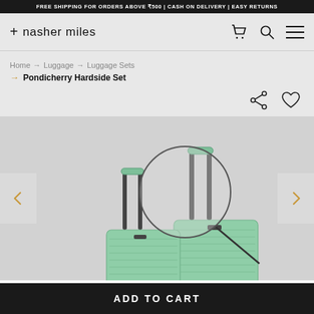FREE SHIPPING FOR ORDERS ABOVE ₹500 | CASH ON DELIVERY | EASY RETURNS
+ nasher miles
Home → Luggage → Luggage Sets → Pondicherry Hardside Set
[Figure (photo): Two mint green hardside luggage bags (a set) with telescoping handles and spinner wheels, displayed on a light gray background. A circular magnifier graphic overlays the handle area. Left and right navigation arrows visible on sides.]
ADD TO CART